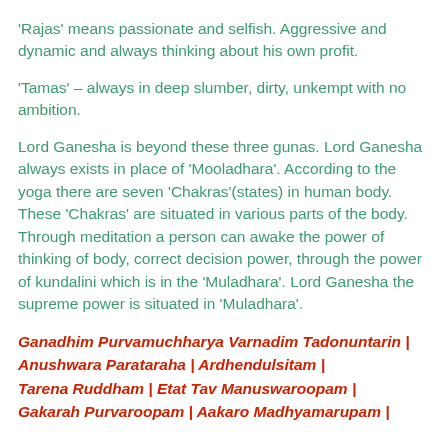'Rajas' means passionate and selfish. Aggressive and dynamic and always thinking about his own profit.
'Tamas' – always in deep slumber, dirty, unkempt with no ambition.
Lord Ganesha is beyond these three gunas. Lord Ganesha always exists in place of 'Mooladhara'. According to the yoga there are seven 'Chakras'(states) in human body. These 'Chakras' are situated in various parts of the body. Through meditation a person can awake the power of thinking of body, correct decision power, through the power of kundalini which is in the 'Muladhara'. Lord Ganesha the supreme power is situated in 'Muladhara'.
Ganadhim Purvamuchharya Varnadim Tadonuntarin | Anushwara Parataraha | Ardhendulsitam | Tarena Ruddham | Etat Tav Manuswaroopam | Gakarah Purvaroopam | Aakaro Madhyamarupam |